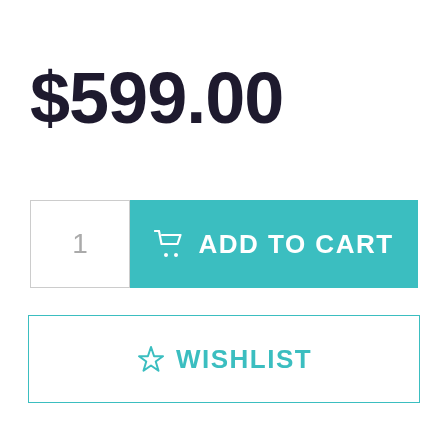$599.00
[Figure (other): Quantity input box showing '1' and an Add to Cart button with shopping cart icon]
[Figure (other): Wishlist button with star icon]